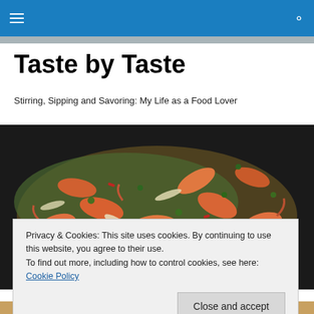≡  🔍
Taste by Taste
Stirring, Sipping and Savoring: My Life as a Food Lover
[Figure (photo): Close-up photograph of cooked shrimp with herbs and garlic in a dark pan]
Privacy & Cookies: This site uses cookies. By continuing to use this website, you agree to their use.
To find out more, including how to control cookies, see here: Cookie Policy
[Figure (photo): Partial view of a food dish at the bottom of the page]